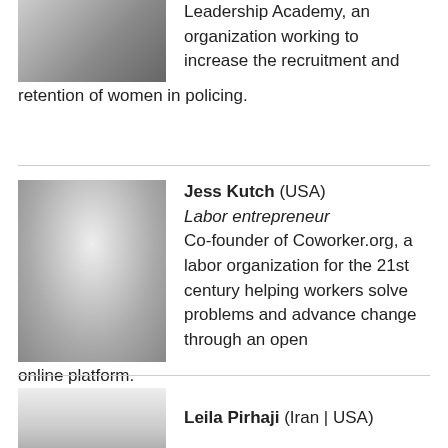[Figure (photo): Black and white portrait photo of person, partially visible, top portion only, wearing suit and tie]
Leadership Academy, an organization working to increase the recruitment and retention of women in policing.
[Figure (photo): Black and white portrait photo of Jess Kutch, smiling, wearing dark jacket]
Jess Kutch (USA)
Labor entrepreneur
Co-founder of Coworker.org, a labor organization for the 21st century helping workers solve problems and advance change through an open online platform.
[Figure (photo): Black and white portrait photo of Leila Pirhaji, partially visible]
Leila Pirhaji (Iran | USA)